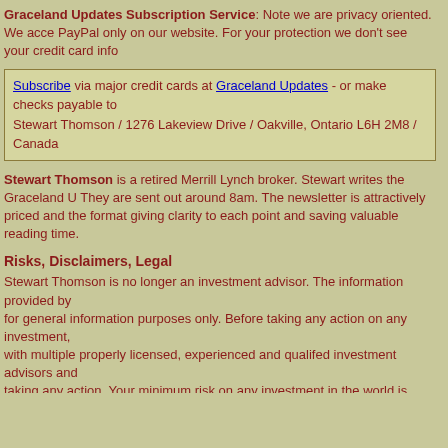Graceland Updates Subscription Service: Note we are privacy oriented. We accept PayPal only on our website. For your protection we don't see your credit card info
Subscribe via major credit cards at Graceland Updates - or make checks payable to Stewart Thomson / 1276 Lakeview Drive / Oakville, Ontario L6H 2M8 / Canada
Stewart Thomson is a retired Merrill Lynch broker. Stewart writes the Graceland Updates. They are sent out around 8am. The newsletter is attractively priced and the format giving clarity to each point and saving valuable reading time.
Risks, Disclaimers, Legal
Stewart Thomson is no longer an investment advisor. The information provided by for general information purposes only. Before taking any action on any investment, with multiple properly licensed, experienced and qualifed investment advisors and taking any action. Your minimum risk on any investment in the world is 100% loss taking or preparing to take leveraged positions in investments and not know it, exp This is highly concerning if you are an investor in any derivatives products. There Derivatives Iceberg with a tiny portion written off officially. The bottom line:
Are You Prepared?
321gold Ltd
Home